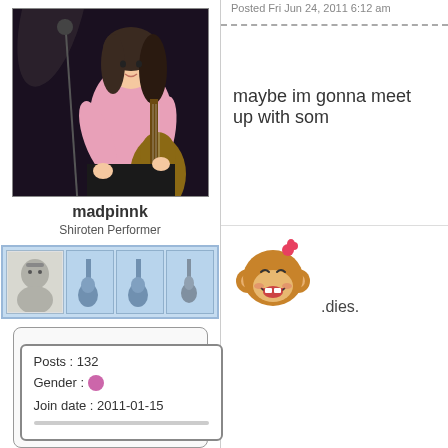[Figure (photo): Photo of a young woman in a pink t-shirt playing guitar on stage with a microphone stand behind her, dark background]
madpinnk
Shiroten Performer
[Figure (illustration): User badge row with a small avatar icon and three guitar badge icons on a blue background]
Posts : 132
Gender : [female icon]
Join date : 2011-01-15
Posted Fri Jun 24, 2011 6:12 am
maybe im gonna meet up with som
[Figure (illustration): Cartoon monkey emoji laughing with a small pink flower/heart above its head]
.dies.